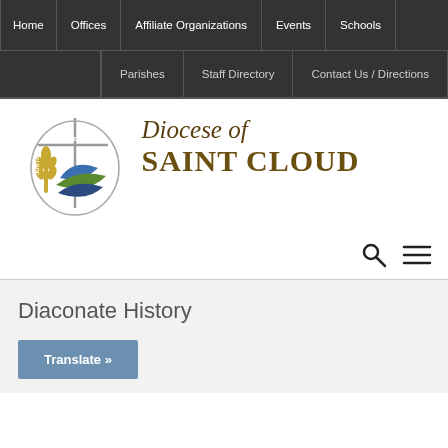Home | Offices | Affiliate Organizations | Events | Schools
Parishes | Staff Directory | Contact Us / Directions
[Figure (logo): Diocese of Saint Cloud logo with cross, wheat, and swoosh emblem in blue, green and gold colors, alongside script and serif text reading 'Diocese of SAINT CLOUD']
Diaconate History
Translate »